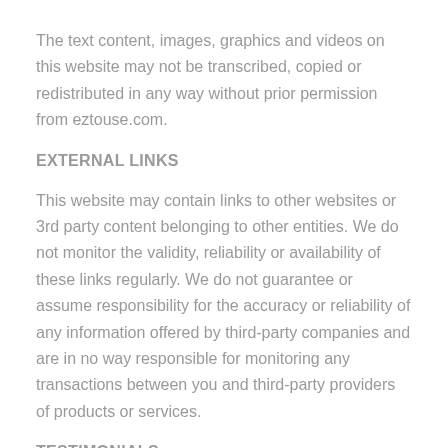The text content, images, graphics and videos on this website may not be transcribed, copied or redistributed in any way without prior permission from eztouse.com.
EXTERNAL LINKS
This website may contain links to other websites or 3rd party content belonging to other entities. We do not monitor the validity, reliability or availability of these links regularly. We do not guarantee or assume responsibility for the accuracy or reliability of any information offered by third-party companies and are in no way responsible for monitoring any transactions between you and third-party providers of products or services.
TESTIMONIALS
This website may contain testimonials by users of products